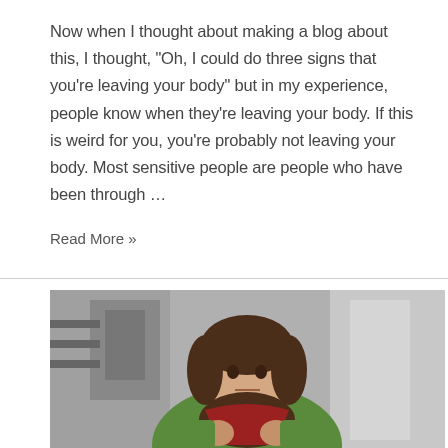Now when I thought about making a blog about this, I thought, "Oh, I could do three signs that you're leaving your body" but in my experience, people know when they're leaving your body. If this is weird for you, you're probably not leaving your body. Most sensitive people are people who have been through ...
Read More »
[Figure (photo): A woman with dark shoulder-length hair wearing a green jacket and red scarf, holding the scarf up with both hands in fists, looking directly at the camera with a serious expression. The background is a blurred grayscale interior scene.]